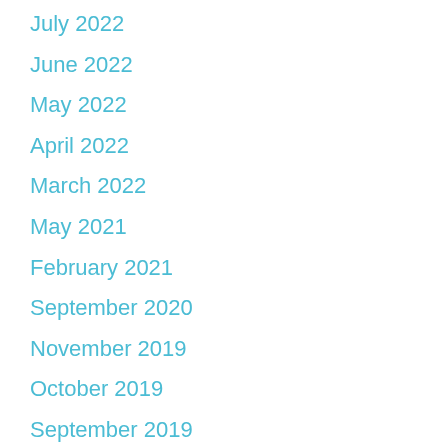July 2022
June 2022
May 2022
April 2022
March 2022
May 2021
February 2021
September 2020
November 2019
October 2019
September 2019
August 2019
July 2019
June 2019